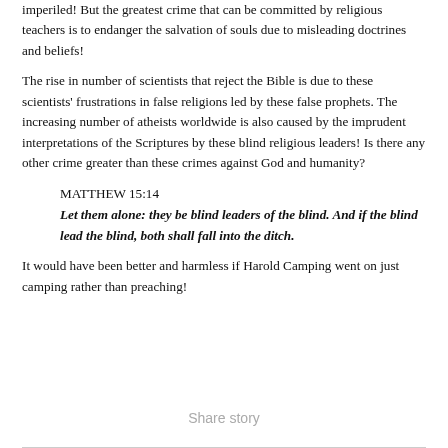imperiled! But the greatest crime that can be committed by religious teachers is to endanger the salvation of souls due to misleading doctrines and beliefs!
The rise in number of scientists that reject the Bible is due to these scientists' frustrations in false religions led by these false prophets. The increasing number of atheists worldwide is also caused by the imprudent interpretations of the Scriptures by these blind religious leaders! Is there any other crime greater than these crimes against God and humanity?
MATTHEW 15:14
Let them alone: they be blind leaders of the blind. And if the blind lead the blind, both shall fall into the ditch.
It would have been better and harmless if Harold Camping went on just camping rather than preaching!
Share story